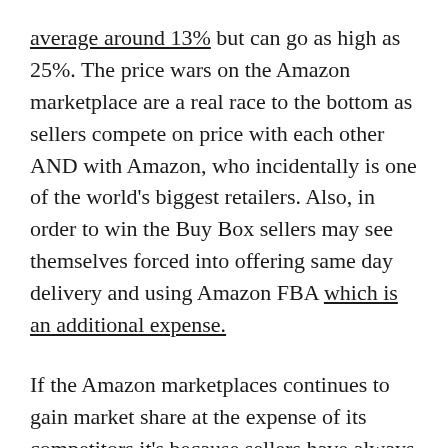average around 13% but can go as high as 25%. The price wars on the Amazon marketplace are a real race to the bottom as sellers compete on price with each other AND with Amazon, who incidentally is one of the world's biggest retailers. Also, in order to win the Buy Box sellers may see themselves forced into offering same day delivery and using Amazon FBA which is an additional expense.
If the Amazon marketplaces continues to gain market share at the expense of its competitors it's because sellers have always seen the value for their money from using it – it does drive sales. Many ecommerce businesses I speak with admit that 80% of their sales volume comes